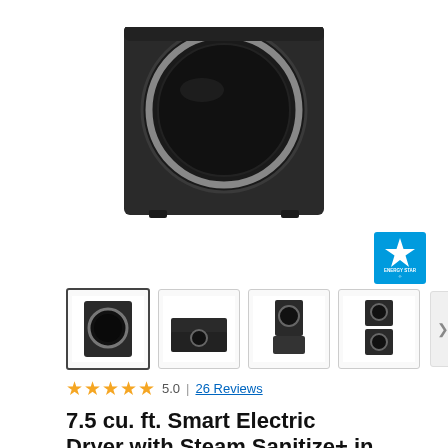[Figure (photo): Black Samsung front-load electric dryer, top portion visible showing the circular door window with chrome ring, on white background]
[Figure (logo): ENERGY STAR certification badge, blue square with white star and 'ENERGY STAR' text]
[Figure (photo): Four product thumbnail images: (1) front view of black dryer, (2) side/top angle view of dryer, (3) front view of dryer on pedestal, (4) stacked washer-dryer unit. Navigation arrow on right.]
5.0 | 26 Reviews
7.5 cu. ft. Smart Electric Dryer with Steam Sanitize+ in